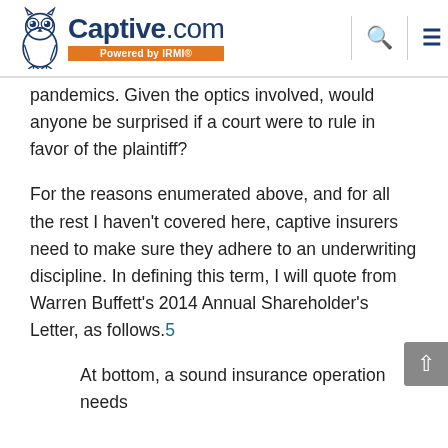Captive.com Powered by IRMI
pandemics. Given the optics involved, would anyone be surprised if a court were to rule in favor of the plaintiff?
For the reasons enumerated above, and for all the rest I haven't covered here, captive insurers need to make sure they adhere to an underwriting discipline. In defining this term, I will quote from Warren Buffett's 2014 Annual Shareholder's Letter, as follows.5
At bottom, a sound insurance operation needs